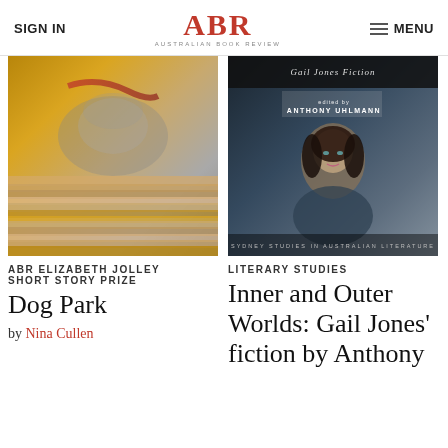SIGN IN | ABR Australian Book Review | MENU
[Figure (photo): Blurred motion photo of a dog running through a dog park, with stacked paper or books visible, warm brown and beige tones]
[Figure (photo): Book cover for 'Gail Jones Fiction' edited by Anthony Uhlmann, showing a woman with dark hair against blurred background, with text 'Sydney Studies in Australian Literature']
ABR ELIZABETH JOLLEY SHORT STORY PRIZE
LITERARY STUDIES
Dog Park
by Nina Cullen
Inner and Outer Worlds: Gail Jones' fiction by Anthony